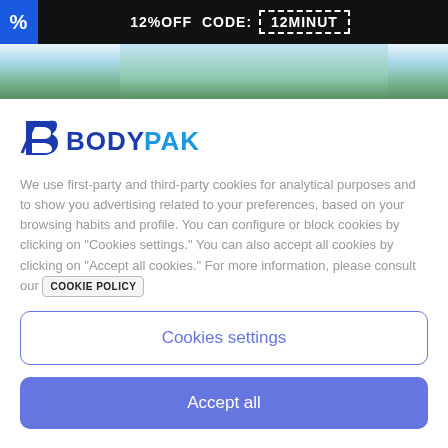12%OFF CODE: 12MINUT
[Figure (photo): Website hero banner with outdoor/nature background (trees, blue sky)]
[Figure (logo): BodyPak logo with stylized B icon and BODYPAK text in blue]
We use first-party and third-party cookies for analytical purposes and to show you advertising related to your preferences, based on your browsing habits and profile. You can configure or block cookies by clicking on "Cookies settings." You can also accept all cookies by clicking on "Accept all cookies." For more information, please consult our COOKIE POLICY
Cookies settings
Accept all